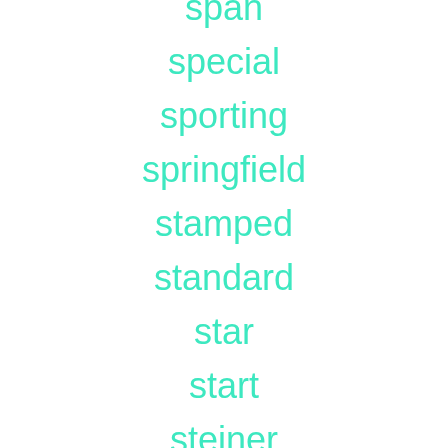span
special
sporting
springfield
stamped
standard
star
start
steiner
steyr
stitch
stitched
stock